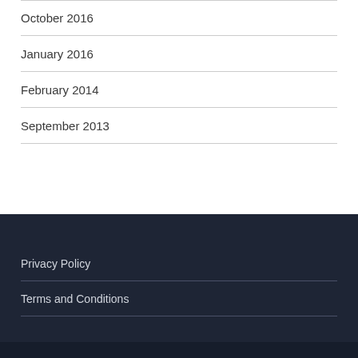October 2016
January 2016
February 2014
September 2013
Privacy Policy
Terms and Conditions